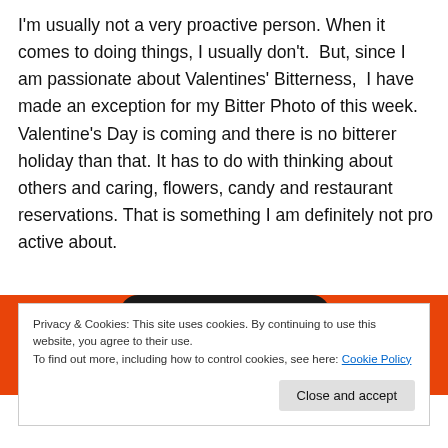I'm usually not a very proactive person. When it comes to doing things, I usually don't.  But, since I am passionate about Valentines' Bitterness,  I have made an exception for my Bitter Photo of this week. Valentine's Day is coming and there is no bitterer holiday than that. It has to do with thinking about others and caring, flowers, candy and restaurant reservations. That is something I am definitely not pro active about.
[Figure (photo): Smartphone displaying DuckDuckGo logo (white duck in orange circle) on dark screen, with orange background visible on sides]
Privacy & Cookies: This site uses cookies. By continuing to use this website, you agree to their use.
To find out more, including how to control cookies, see here: Cookie Policy